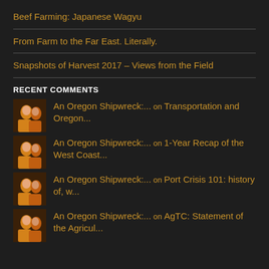Beef Farming: Japanese Wagyu
From Farm to the Far East. Literally.
Snapshots of Harvest 2017 – Views from the Field
RECENT COMMENTS
An Oregon Shipwreck:... on Transportation and Oregon...
An Oregon Shipwreck:... on 1-Year Recap of the West Coast...
An Oregon Shipwreck:... on Port Crisis 101: history of, w...
An Oregon Shipwreck:... on AgTC: Statement of the Agricul...